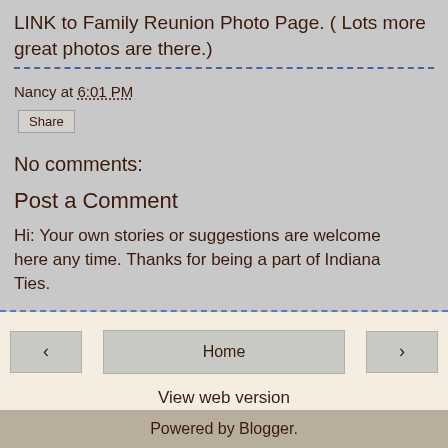LINK to Family Reunion Photo Page. ( Lots more great photos are there.)
Nancy at 6:01 PM
Share
No comments:
Post a Comment
Hi: Your own stories or suggestions are welcome here any time. Thanks for being a part of Indiana Ties.
‹
Home
›
View web version
Powered by Blogger.